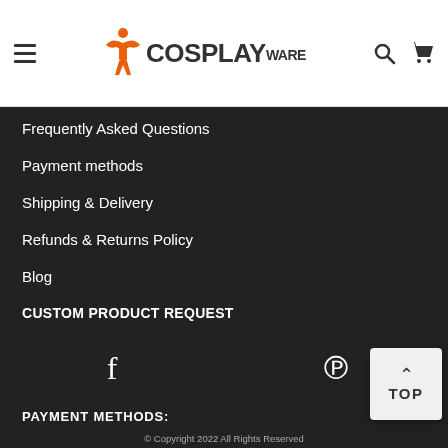[Figure (logo): CosplayWare logo with orange figure/character icon and bold text COSPLAY with smaller WARE]
Frequently Asked Questions
Payment methods
Shipping & Delivery
Refunds & Returns Policy
Blog
CUSTOM PRODUCT REQUEST
[Figure (other): Social media icons: Facebook (f) and Pinterest (P) on dark background]
PAYMENT METHODS:
TOP
© Copyright 2022 All Rights Reserved